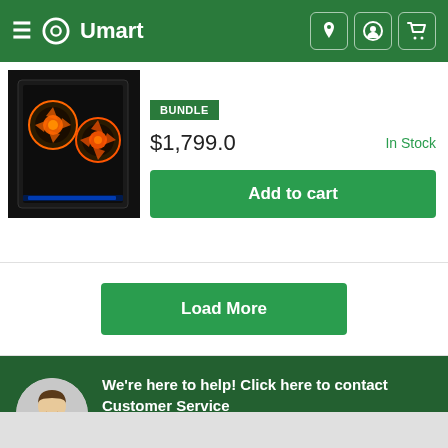Umart
[Figure (screenshot): Gaming PC tower with RGB orange fans in black case]
BUNDLE
$1,799.0
In Stock
Add to cart
Load More
We're here to help! Click here to contact Customer Service
Help centre
Contact us